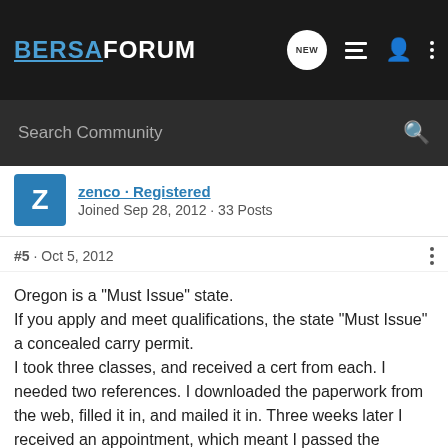BERSAFORUM
Search Community
Joined Sep 28, 2012 · 33 Posts
#5 · Oct 5, 2012
Oregon is a "Must Issue" state. If you apply and meet qualifications, the state "Must Issue" a concealed carry permit. I took three classes, and received a cert from each. I needed two references. I downloaded the paperwork from the web, filled it in, and mailed it in. Three weeks later I received an appointment, which meant I passed the background check. Went down for the appointment, showed one cert, got digital fingerprinted, they took a nice picture, and my carry permit was issued on the spot. The people who work there are really nice. There is no shooting qualification. The permit allows you to